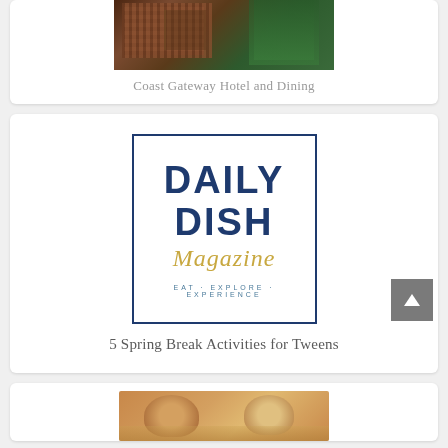[Figure (photo): Photo of Coast Gateway Hotel building exterior with greenery]
Coast Gateway Hotel and Dining
[Figure (logo): Daily Dish Magazine logo with navy blue border, DAILY DISH in bold navy text, Magazine in gold italic script, tagline EAT·EXPLORE·EXPERIENCE in teal]
5 Spring Break Activities for Tweens
[Figure (photo): Photo of two smiling women at an event]